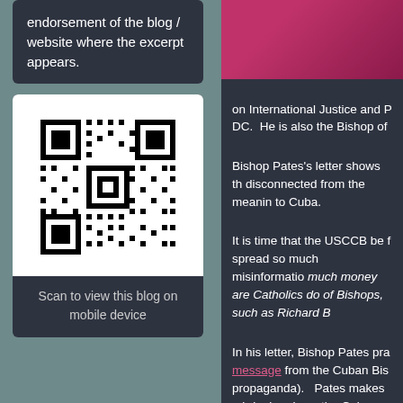endorsement of the blog / website where the excerpt appears.
[Figure (other): QR code for scanning blog on mobile device]
Scan to view this blog on mobile device
[Figure (photo): Partial photo with pink/magenta tones, partially cropped]
on International Justice and P DC.  He is also the Bishop of
Bishop Pates's letter shows th disconnected from the meanin to Cuba.
It is time that the USCCB be f spread so much misinformatio much money are Catholics do of Bishops, such as Richard B
In his letter, Bishop Pates pra message from the Cuban Bis propaganda).   Pates makes a bringing down the Cuban emb Pates is completely ignorant Cuba, Western Hemisphere g illicit arms trafficking to No